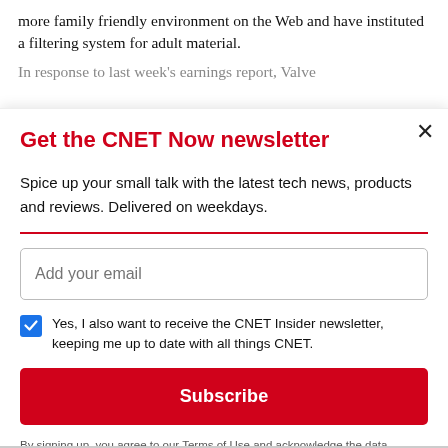more family friendly environment on the Web and have instituted a filtering system for adult material.
In response to last week's earnings report, Valve
Get the CNET Now newsletter
Spice up your small talk with the latest tech news, products and reviews. Delivered on weekdays.
Add your email
Yes, I also want to receive the CNET Insider newsletter, keeping me up to date with all things CNET.
Subscribe
By signing up, you agree to our Terms of Use and acknowledge the data practices in our Privacy Policy. You may unsubscribe at any time.